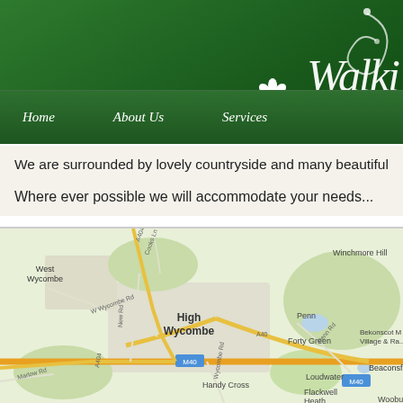[Figure (screenshot): Green website header with 'Walki...' logo text, decorative flower and swirl illustration on green background]
Home   About Us   Services
We are surrounded by lovely countryside and many beautiful wa...
Where ever possible we will accommodate your needs...
[Figure (map): Google Maps screenshot showing High Wycombe area including West Wycombe, Winchmore Hill, Penn, Forty Green, Bekonscot Village & Ra..., Beaconsfield, Loudwater, Handy Cross, Flackwell Heath, Wooburn Green area. Roads including M40, A40, A404 visible as yellow/orange lines.]